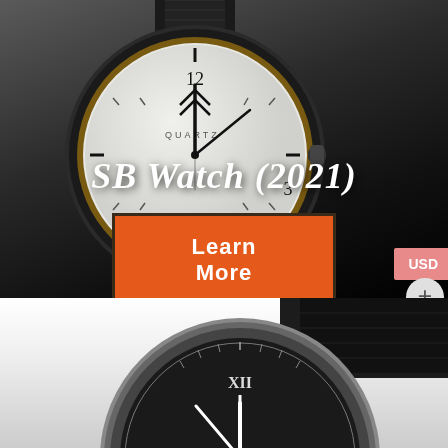[Figure (photo): Close-up photo of a quartz watch with white dial, black leather strap, and minimalist design showing hour markers and brand logo. Dark gradient background. Title 'SB Watch (2021)' overlaid in white serif font, with an orange 'Learn More' button below.]
[Figure (photo): Close-up photo of a watch with dark/black dial showing Roman numerals, white hour markers on a bezel ring, silver case, and black leather strap. White/light background.]